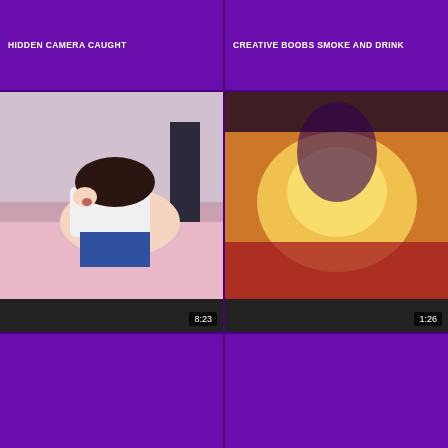HIDDEN CAMERA CAUGHT
CREATIVE BOOBS SMOKE AND DRINK
[Figure (photo): Video thumbnail showing a woman in a white top and blue skirt bent over, duration 8:23]
SEXPARTI MELLEM
[Figure (photo): Blurry video thumbnail with warm orange tones, duration 1:26]
TOLERANT DUA BOHSIA SANGAP
[Figure (photo): Video thumbnail of a woman with an explicit pose, duration 2:43:06]
LOVE OF MOTHER. BIG TITS MOM
[Figure (photo): Video thumbnail of a smiling woman with glasses in a green top, waving]
SEXY GREEN ON MOMMA D
[Figure (photo): Partial bottom-left thumbnail, partially visible]
[Figure (photo): Partial bottom-right thumbnail, partially visible]